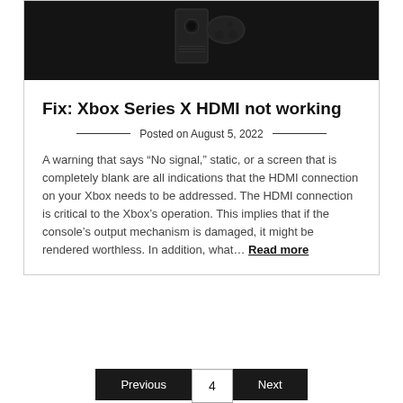[Figure (photo): Dark photo of Xbox Series X console and controller against black background]
Fix: Xbox Series X HDMI not working
Posted on August 5, 2022
A warning that says “No signal,” static, or a screen that is completely blank are all indications that the HDMI connection on your Xbox needs to be addressed. The HDMI connection is critical to the Xbox’s operation. This implies that if the console’s output mechanism is damaged, it might be rendered worthless. In addition, what… Read more
Previous  4  Next